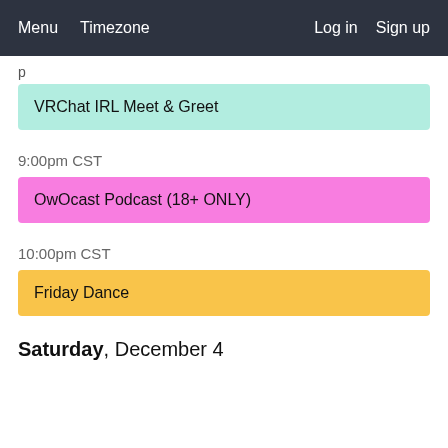Menu   Timezone   Log in   Sign up
p
VRChat IRL Meet & Greet
9:00pm CST
OwOcast Podcast (18+ ONLY)
10:00pm CST
Friday Dance
Saturday, December 4